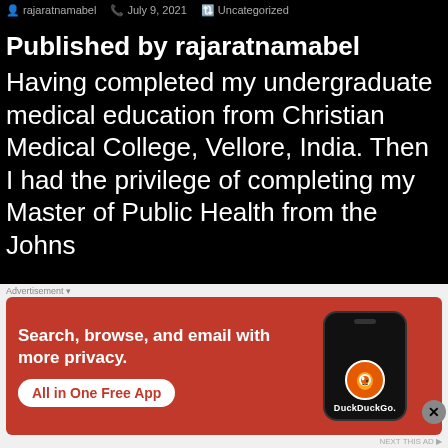rajaratnamabel   July 9, 2021   Uncategorized
Published by rajaratnamabel
Having completed my undergraduate medical education from Christian Medical College, Vellore, India. Then I had the privilege of completing my Master of Public Health from the Johns
[Figure (screenshot): DuckDuckGo advertisement banner: orange/red background with text 'Search, browse, and email with more privacy. All in One Free App' and a DuckDuckGo branded phone mockup on the right.]